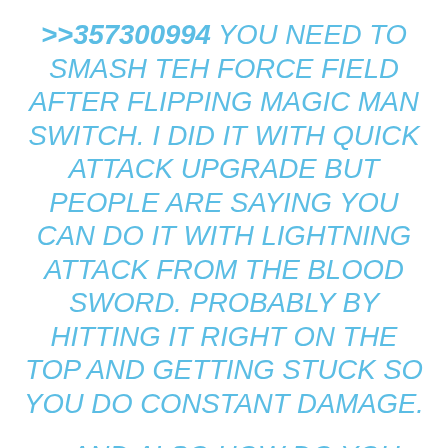>>357300994 YOU NEED TO SMASH TEH FORCE FIELD AFTER FLIPPING MAGIC MAN SWITCH. I DID IT WITH QUICK ATTACK UPGRADE BUT PEOPLE ARE SAYING YOU CAN DO IT WITH LIGHTNING ATTACK FROM THE BLOOD SWORD. PROBABLY BY HITTING IT RIGHT ON THE TOP AND GETTING STUCK SO YOU DO CONSTANT DAMAGE.
> AND ALSO HOW DO YOU GET THE NSFW MODELS?ARE YOU PLAYING 7.0 OR 7.1?
IS THERE A GUIDE OUT THERE ON HOW